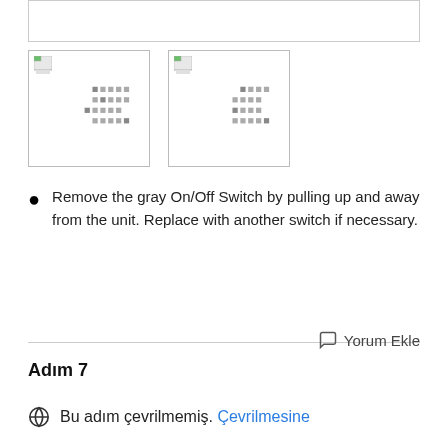[Figure (screenshot): Gray bordered box at the top of the page, appears to be a content area or text field]
[Figure (screenshot): Two thumbnail images side by side, each showing a small broken image icon in the upper left and a dot/pixel grid pattern in the lower right area, bordered with a thin gray border]
Remove the gray On/Off Switch by pulling up and away from the unit. Replace with another switch if necessary.
Yorum Ekle
Adım 7
Bu adım çevrilmemiş. Çevrilmesine